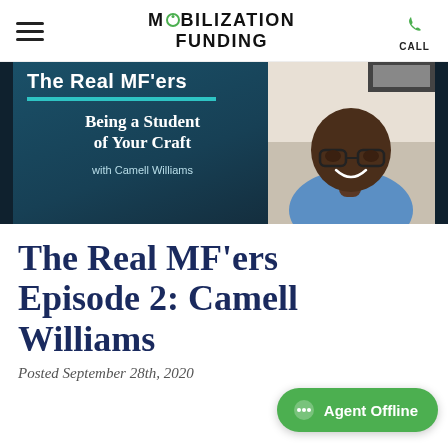MOBILIZATION FUNDING | CALL
[Figure (screenshot): Podcast thumbnail for The Real MF'ers episode featuring Camell Williams. Left panel shows dark teal background with episode title 'The Real MF'ers', subtitle 'Being a Student of Your Craft', and 'with Camell Williams'. Right panel shows a photo of Camell Williams, a smiling Black man wearing glasses and a blue shirt.]
The Real MF'ers Episode 2: Camell Williams
Posted September 28th, 2020
[Figure (infographic): Green 'Agent Offline' chat button in bottom right corner]